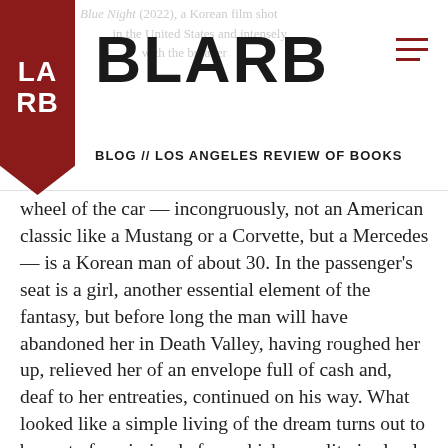BLARB
BLOG // LOS ANGELES REVIEW OF BOOKS
wheel of the car — incongruously, not an American classic like a Mustang or a Corvette, but a Mercedes — is a Korean man of about 30. In the passenger's seat is a girl, another essential element of the fantasy, but before long the man will have abandoned her in Death Valley, having roughed her up, relieved her of an envelope full of cash and, deaf to her entreaties, continued on his way. What looked like a simple living of the dream turns out to be part of a mission before which morality is clearly no object.
The man's name is Baek Ho-bin, and Los Angeles is the destination of a months-long